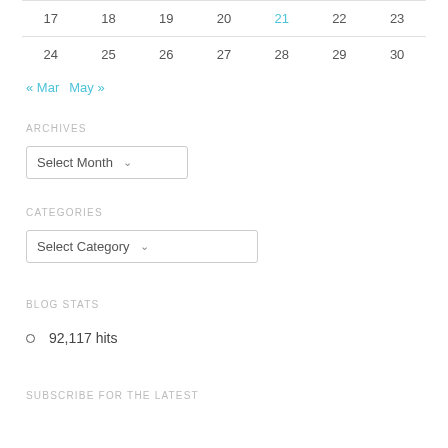| 17 | 18 | 19 | 20 | 21 | 22 | 23 |
| 24 | 25 | 26 | 27 | 28 | 29 | 30 |
« Mar   May »
ARCHIVES
Select Month
CATEGORIES
Select Category
BLOG STATS
92,117 hits
SUBSCRIBE FOR THE LATEST